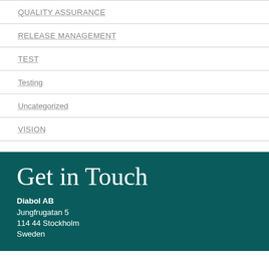Quality Assurance
RELEASE MANAGEMENT
TEST
Testing
Uncategorized
VISION
Get in Touch
Diabol AB
Jungfrugatan 5
114 44 Stockholm
Sweden